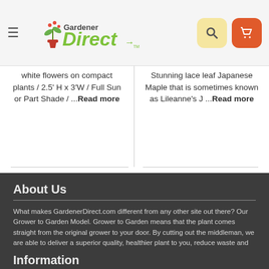[Figure (logo): Gardener Direct logo with plant icon and green text]
white flowers on compact plants / 2.5' H x 3'W / Full Sun or Part Shade / ...Read more
Stunning lace leaf Japanese Maple that is sometimes known as Lileanne's J ...Read more
About Us
What makes GardenerDirect.com different from any other site out there? Our Grower to Garden Model. Grower to Garden means that the plant comes straight from the original grower to your door. By cutting out the middleman, we are able to deliver a superior quality, healthier plant to you, reduce waste and emissions, all while passing the costs savings to you. Read More >
Information